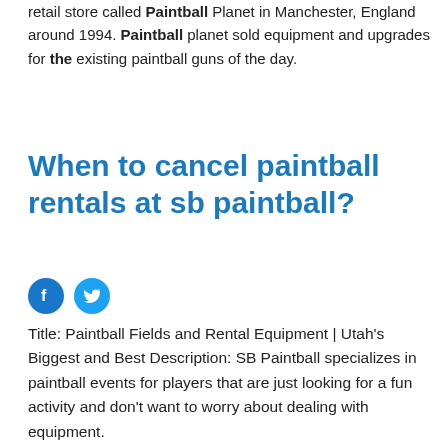retail store called Paintball Planet in Manchester, England around 1994. Paintball planet sold equipment and upgrades for the existing paintball guns of the day.
When to cancel paintball rentals at sb paintball?
[Figure (other): Facebook and Twitter social media icon buttons]
Title: Paintball Fields and Rental Equipment | Utah's Biggest and Best Description: SB Paintball specializes in paintball events for players that are just looking for a fun activity and don't want to worry about dealing with equipment.